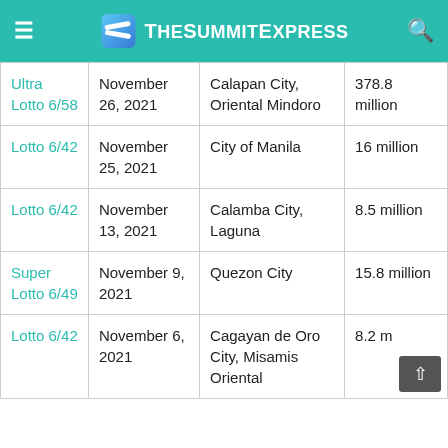TheSummitExpress
| Game | Date | Location | Prize |
| --- | --- | --- | --- |
| Ultra Lotto 6/58 | November 26, 2021 | Calapan City, Oriental Mindoro | 378.8 million |
| Lotto 6/42 | November 25, 2021 | City of Manila | 16 million |
| Lotto 6/42 | November 13, 2021 | Calamba City, Laguna | 8.5 million |
| Super Lotto 6/49 | November 9, 2021 | Quezon City | 15.8 million |
| Lotto 6/42 | November 6, 2021 | Cagayan de Oro City, Misamis Oriental | 8.2 m... |